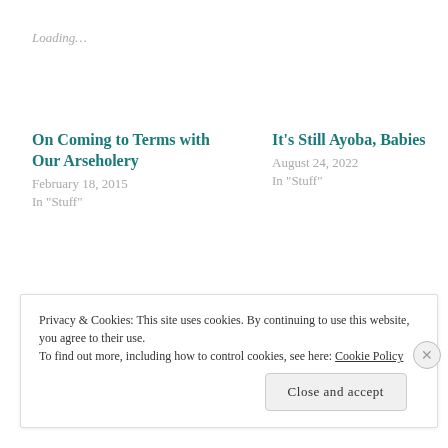Loading…
On Coming to Terms with Our Arseholery
February 18, 2015
In "Stuff"
It's Still Ayoba, Babies
August 24, 2022
In "Stuff"
Carnivals and Gardens
January 30, 2014
In "Stuff"
Privacy & Cookies: This site uses cookies. By continuing to use this website, you agree to their use. To find out more, including how to control cookies, see here: Cookie Policy
Close and accept